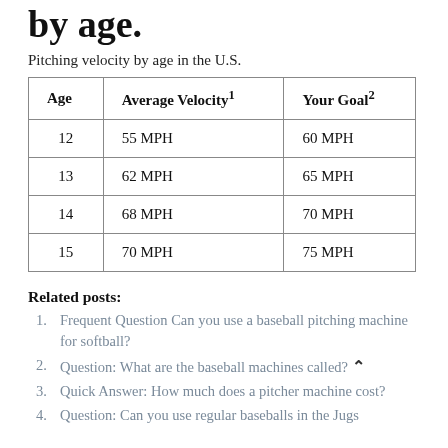by age.
Pitching velocity by age in the U.S.
| Age | Average Velocity¹ | Your Goal² |
| --- | --- | --- |
| 12 | 55 MPH | 60 MPH |
| 13 | 62 MPH | 65 MPH |
| 14 | 68 MPH | 70 MPH |
| 15 | 70 MPH | 75 MPH |
Related posts:
1. Frequent Question Can you use a baseball pitching machine for softball?
2. Question: What are the baseball machines called?
3. Quick Answer: How much does a pitcher machine cost?
4. Question: Can you use regular baseballs in the Jugs